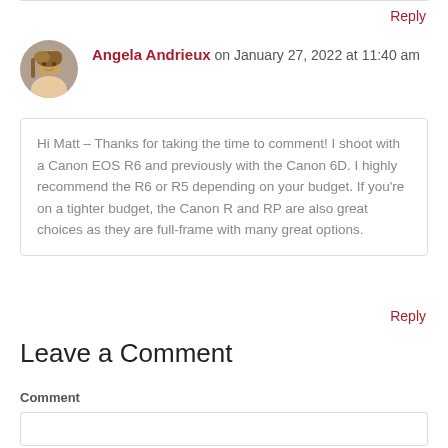Reply
Angela Andrieux on January 27, 2022 at 11:40 am
Hi Matt – Thanks for taking the time to comment! I shoot with a Canon EOS R6 and previously with the Canon 6D. I highly recommend the R6 or R5 depending on your budget. If you're on a tighter budget, the Canon R and RP are also great choices as they are full-frame with many great options.
Reply
Leave a Comment
Comment